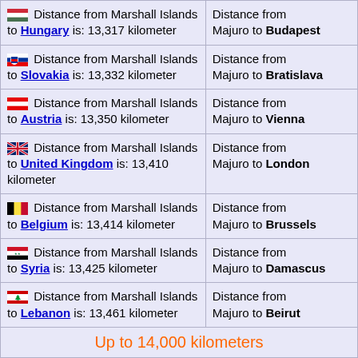| Country distance | City distance |
| --- | --- |
| 🇭🇺 Distance from Marshall Islands to Hungary is: 13,317 kilometer | Distance from Majuro to Budapest |
| 🇸🇰 Distance from Marshall Islands to Slovakia is: 13,332 kilometer | Distance from Majuro to Bratislava |
| 🇦🇹 Distance from Marshall Islands to Austria is: 13,350 kilometer | Distance from Majuro to Vienna |
| 🇬🇧 Distance from Marshall Islands to United Kingdom is: 13,410 kilometer | Distance from Majuro to London |
| 🇧🇪 Distance from Marshall Islands to Belgium is: 13,414 kilometer | Distance from Majuro to Brussels |
| 🇸🇾 Distance from Marshall Islands to Syria is: 13,425 kilometer | Distance from Majuro to Damascus |
| 🇱🇧 Distance from Marshall Islands to Lebanon is: 13,461 kilometer | Distance from Majuro to Beirut |
| Up to 14,000 kilometers |  |
| 🇷🇸 Distance from Marshall Islands | Distance from |